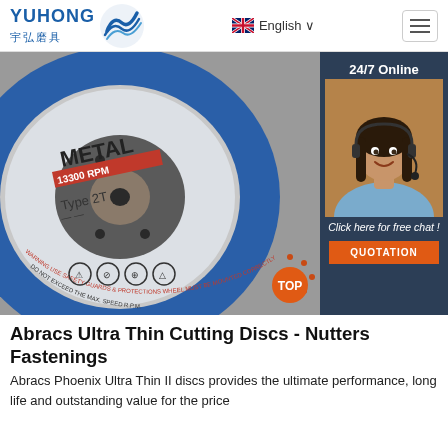YUHONG 宇弘磨具 | English | menu
[Figure (photo): A blue metal cutting disc labeled METAL, Type 2T, with safety warning text around the edge. On the right overlay: 24/7 Online with a customer service agent photo, 'Click here for free chat!' and a QUOTATION button.]
Abracs Ultra Thin Cutting Discs - Nutters Fastenings
Abracs Phoenix Ultra Thin II discs provides the ultimate performance, long life and outstanding value for the price